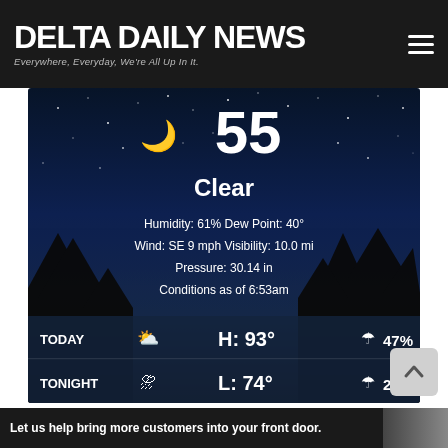DELTA DAILY NEWS — Everywhere, Everyday, We're All Up In It.
[Figure (screenshot): Weather widget showing nighttime clear sky with stars and tree silhouettes. Current temp 55°, condition: Clear. Humidity: 61%, Dew Point: 40°, Wind: SE 9 mph, Visibility: 10.0 mi, Pressure: 30.14 in. Conditions as of 6:53am. TODAY H: 93° 47%, TONIGHT L: 74° 25%.]
Let us help bring more customers into your front door.